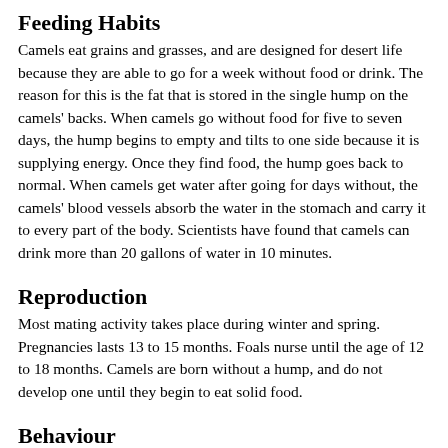Feeding Habits
Camels eat grains and grasses, and are designed for desert life because they are able to go for a week without food or drink. The reason for this is the fat that is stored in the single hump on the camels' backs. When camels go without food for five to seven days, the hump begins to empty and tilts to one side because it is supplying energy. Once they find food, the hump goes back to normal. When camels get water after going for days without, the camels' blood vessels absorb the water in the stomach and carry it to every part of the body. Scientists have found that camels can drink more than 20 gallons of water in 10 minutes.
Reproduction
Most mating activity takes place during winter and spring. Pregnancies lasts 13 to 15 months. Foals nurse until the age of 12 to 18 months. Camels are born without a hump, and do not develop one until they begin to eat solid food.
Behaviour
Dromedary camels tend to show very little aggressive behaviour. They form groups ranging in size from 2 to 20 individuals.  The groups consist of one male, several females, along with sub adults and young.  The male is the dominant figure in the group and will lead his pack from the rear, while the females share the navigation